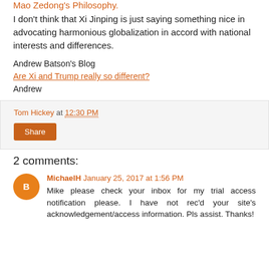Mao Zedong's Philosophy.
I don't think that Xi Jinping is just saying something nice in advocating harmonious globalization in accord with national interests and differences.
Andrew Batson's Blog
Are Xi and Trump really so different?
Andrew
Tom Hickey at 12:30 PM
Share
2 comments:
MichaelH January 25, 2017 at 1:56 PM
Mike please check your inbox for my trial access notification please. I have not rec'd your site's acknowledgement/access information. Pls assist. Thanks!